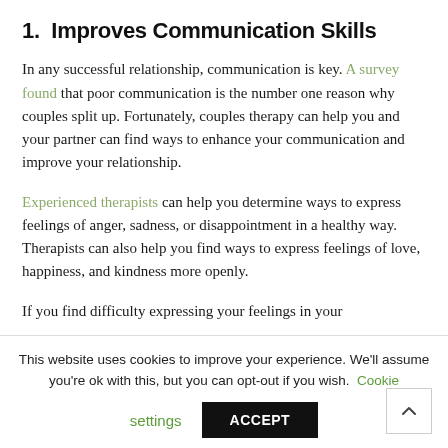1.  Improves Communication Skills
In any successful relationship, communication is key. A survey found that poor communication is the number one reason why couples split up. Fortunately, couples therapy can help you and your partner can find ways to enhance your communication and improve your relationship.
Experienced therapists can help you determine ways to express feelings of anger, sadness, or disappointment in a healthy way. Therapists can also help you find ways to express feelings of love, happiness, and kindness more openly.
If you find difficulty expressing your feelings in your
This website uses cookies to improve your experience. We'll assume you're ok with this, but you can opt-out if you wish. Cookie settings ACCEPT